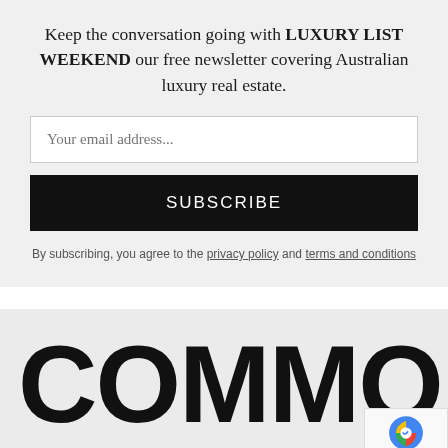Keep the conversation going with LUXURY LIST WEEKEND our free newsletter covering Australian luxury real estate.
Your email address...
SUBSCRIBE
By subscribing, you agree to the privacy policy and terms and conditions
COMMO
Join the Australian Commercial real estate conversation with COMMO our free newsletter